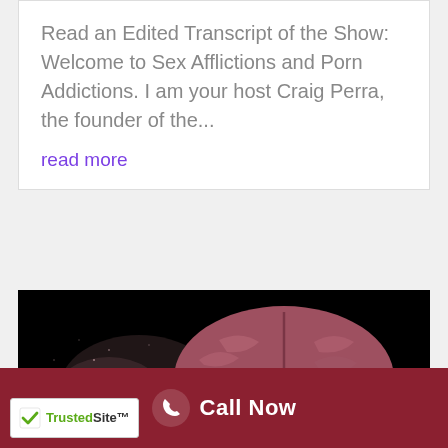Read an Edited Transcript of the Show: Welcome to Sex Afflictions and Porn Addictions. I am your host Craig Perra, the founder of the...
read more
[Figure (photo): 3D rendered human brain on black background with particles dispersing from the left side, giving an exploding or dissolving effect]
Call Now